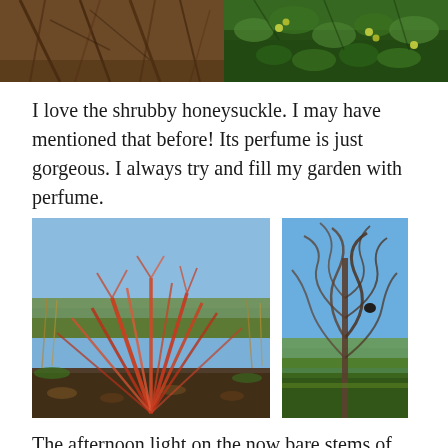[Figure (photo): Two photos at the top: left shows brown/orange dry stems and branches up close; right shows green foliage with berries or small fruits.]
I love the shrubby honeysuckle. I may have mentioned that before! Its perfume is just gorgeous. I always try and fill my garden with perfume.
[Figure (photo): Two garden photos side by side: left shows a cornus shrub with vivid red/orange bare stems in winter; right shows a contorted willow with twisted bare branches against a blue sky.]
The afternoon light on the now bare stems of the cornus. And a contorted willow which I must remember to use with flowers in the house.